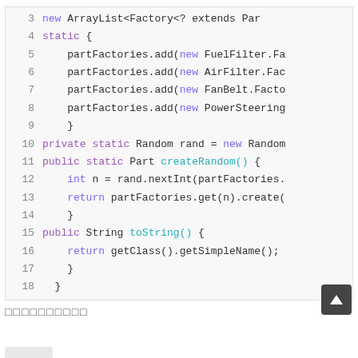[Figure (screenshot): Java source code snippet showing lines 3-18 of a class with partFactories list, static block adding FuelFilter, AirFilter, FanBelt, PowerSteering factories, createRandom() and toString() methods.]
□□□□□□□□□□